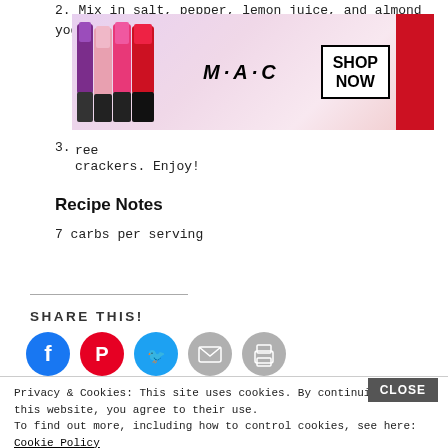2. Mix in salt, pepper, lemon juice, and almond yogurt.
[Figure (photo): MAC Cosmetics advertisement banner showing colorful lipsticks (purple, pink, hot pink, red) with MAC logo and SHOP NOW button]
3. Serve on gluten-free crackers. Enjoy!
Recipe Notes
7 carbs per serving
SHARE THIS!
[Figure (infographic): Social share buttons: Facebook (blue), Pinterest (red), Twitter (blue), Email (grey), Print (grey)]
Privacy & Cookies: This site uses cookies. By continuing to use this website, you agree to their use.
To find out more, including how to control cookies, see here: Cookie Policy
[Figure (photo): Victoria's Secret advertisement showing a model with curly hair, VS logo, SHOP THE COLLECTION text, and SHOP NOW button]